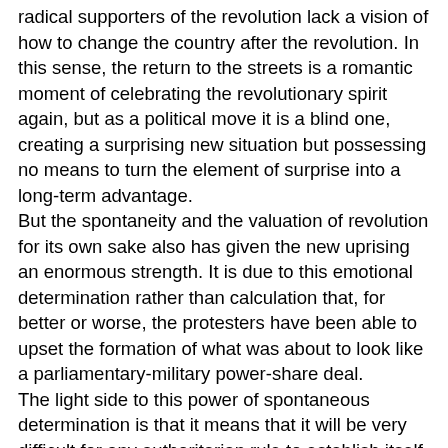radical supporters of the revolution lack a vision of how to change the country after the revolution. In this sense, the return to the streets is a romantic moment of celebrating the revolutionary spirit again, but as a political move it is a blind one, creating a surprising new situation but possessing no means to turn the element of surprise into a long-term advantage. But the spontaneity and the valuation of revolution for its own sake also has given the new uprising an enormous strength. It is due to this emotional determination rather than calculation that, for better or worse, the protesters have been able to upset the formation of what was about to look like a parliamentary-military power-share deal. The light side to this power of spontaneous determination is that it means that it will be very difficult for any authoritarian rule to establish itself in Egypt in the near future. Finding an atmosphere of revolutionary celebration in the square after great numbers of people have been killed and while fighting continues in the side streets means that there is a spirit of ongoing resistance that will be very hard to break, and that spirit is urgently needed as a corrective power in the coming years when whoever will run the affairs of Egypt will be